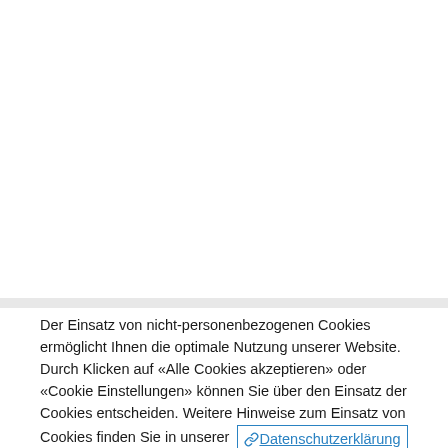Der Einsatz von nicht-personenbezogenen Cookies ermöglicht Ihnen die optimale Nutzung unserer Website. Durch Klicken auf «Alle Cookies akzeptieren» oder «Cookie Einstellungen» können Sie über den Einsatz der Cookies entscheiden. Weitere Hinweise zum Einsatz von Cookies finden Sie in unserer Datenschutzerklärung